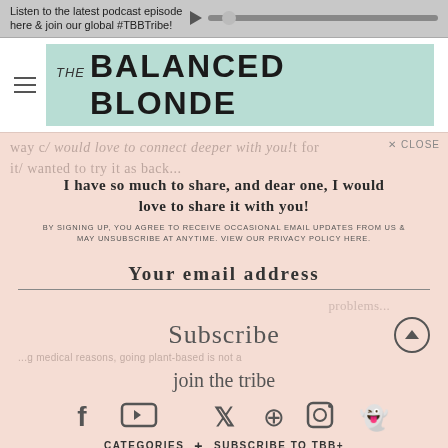Listen to the latest podcast episode here & join our global #TBBTribe!
[Figure (logo): The Balanced Blonde logo with teal/mint background]
I have so much to share, and dear one, I would love to share it with you!
BY SIGNING UP, YOU AGREE TO RECEIVE OCCASIONAL EMAIL UPDATES FROM US & MAY UNSUBSCRIBE AT ANYTIME. VIEW OUR PRIVACY POLICY HERE.
Your email address
Subscribe
join the tribe
[Figure (infographic): Social media icons: Facebook, YouTube, Twitter, Pinterest, Instagram, Snapchat]
CATEGORIES +    SUBSCRIBE TO TBB+